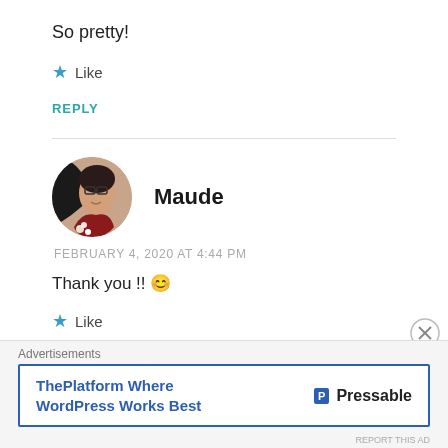So pretty!
★ Like
REPLY
Maude
[Figure (photo): Circular avatar photo of Maude, a woman with glasses and dark hair, wearing a red top, holding white flowers against a dark/tan background.]
FEBRUARY 4, 2020 AT 4:44 PM
Thank you !! 😊
★ Like
Advertisements
ThePlatform Where WordPress Works Best   P Pressable